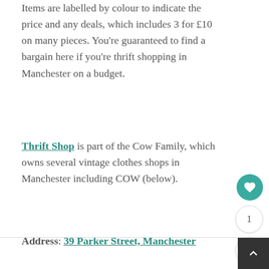Items are labelled by colour to indicate the price and any deals, which includes 3 for £10 on many pieces. You're guaranteed to find a bargain here if you're thrift shopping in Manchester on a budget.
Thrift Shop is part of the Cow Family, which owns several vintage clothes shops in Manchester including COW (below).
Address: 39 Parker Street, Manchester